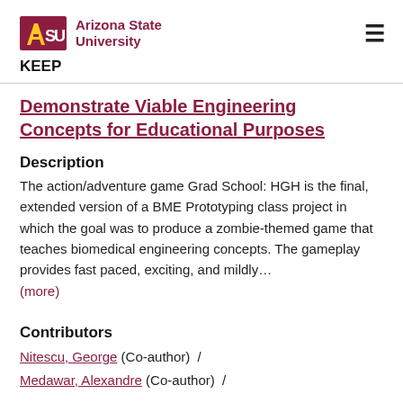ASU Arizona State University
KEEP
Demonstrate Viable Engineering Concepts for Educational Purposes
Description
The action/adventure game Grad School: HGH is the final, extended version of a BME Prototyping class project in which the goal was to produce a zombie-themed game that teaches biomedical engineering concepts. The gameplay provides fast paced, exciting, and mildly…
(more)
Contributors
Nitescu, George (Co-author)  /
Medawar, Alexandre (Co-author)  /